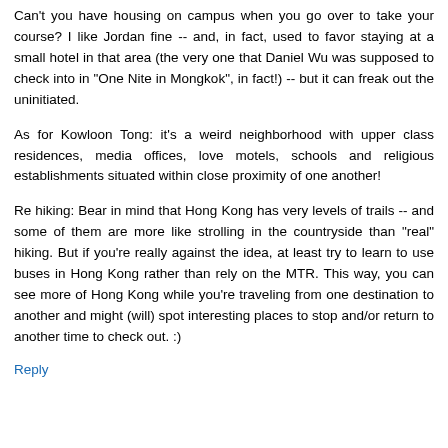Can't you have housing on campus when you go over to take your course? I like Jordan fine -- and, in fact, used to favor staying at a small hotel in that area (the very one that Daniel Wu was supposed to check into in "One Nite in Mongkok", in fact!) -- but it can freak out the uninitiated.
As for Kowloon Tong: it's a weird neighborhood with upper class residences, media offices, love motels, schools and religious establishments situated within close proximity of one another!
Re hiking: Bear in mind that Hong Kong has very levels of trails -- and some of them are more like strolling in the countryside than "real" hiking. But if you're really against the idea, at least try to learn to use buses in Hong Kong rather than rely on the MTR. This way, you can see more of Hong Kong while you're traveling from one destination to another and might (will) spot interesting places to stop and/or return to another time to check out. :)
Reply